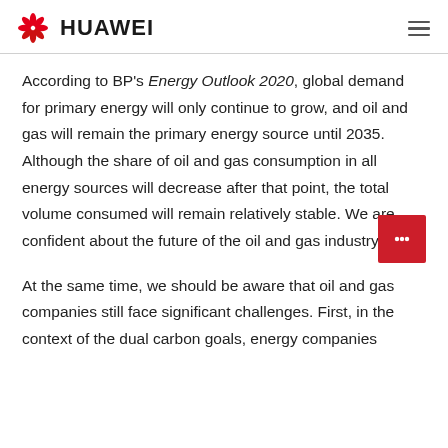HUAWEI
According to BP's Energy Outlook 2020, global demand for primary energy will only continue to grow, and oil and gas will remain the primary energy source until 2035. Although the share of oil and gas consumption in all energy sources will decrease after that point, the total volume consumed will remain relatively stable. We are confident about the future of the oil and gas industry.
At the same time, we should be aware that oil and gas companies still face significant challenges. First, in the context of the dual carbon goals, energy companies